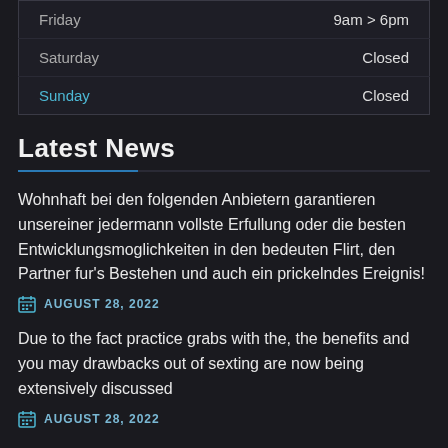| Day | Hours |
| --- | --- |
| Friday | 9am > 6pm |
| Saturday | Closed |
| Sunday | Closed |
Latest News
Wohnhaft bei den folgenden Anbietern garantieren unsereiner jedermann vollste Erfullung oder die besten Entwicklungsmoglichkeiten in den bedeuten Flirt, den Partner fur's Bestehen und auch ein prickelndes Ereignis!
AUGUST 28, 2022
Due to the fact practice grabs with the, the benefits and you may drawbacks out of sexting are now being extensively discussed
AUGUST 28, 2022